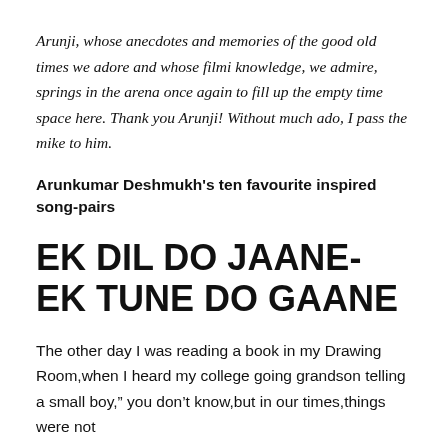Arunji, whose anecdotes and memories of the good old times we adore and whose filmi knowledge, we admire, springs in the arena once again to fill up the empty time space here. Thank you Arunji! Without much ado, I pass the mike to him.
Arunkumar Deshmukh's ten favourite inspired song-pairs
EK DIL DO JAANE- EK TUNE DO GAANE
The other day I was reading a book in my Drawing Room,when I heard my college going grandson telling a small boy," you don't know,but in our times,things were not